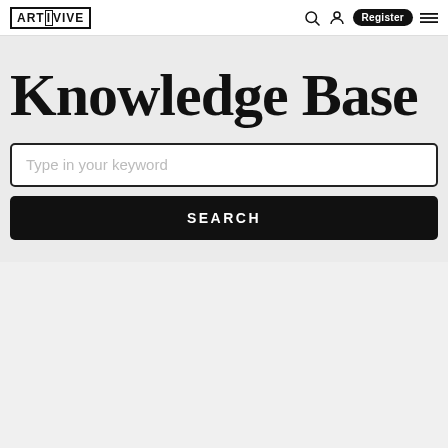ARTIVIVE | Register
Knowledge Base
Type in your keyword
SEARCH